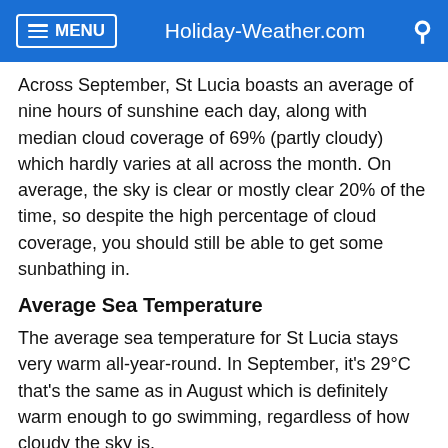MENU  Holiday-Weather.com
Across September, St Lucia boasts an average of nine hours of sunshine each day, along with median cloud coverage of 69% (partly cloudy) which hardly varies at all across the month. On average, the sky is clear or mostly clear 20% of the time, so despite the high percentage of cloud coverage, you should still be able to get some sunbathing in.
Average Sea Temperature
The average sea temperature for St Lucia stays very warm all-year-round. In September, it's 29°C that's the same as in August which is definitely warm enough to go swimming, regardless of how cloudy the sky is.
Humidity
Thanks to its tropical climate, St Lucia is humid throughout